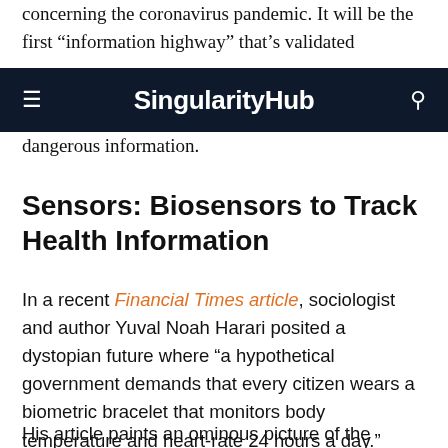concerning the coronavirus pandemic. It will be the first “information highway” that’s validated by … dangerous information.
SingularityHub
dangerous information.
Sensors: Biosensors to Track Health Information
In a recent Financial Times article, sociologist and author Yuval Noah Harari posited a dystopian future where “a hypothetical government demands that every citizen wears a biometric bracelet that monitors body temperature and heart-rate 24 hours a day.”
His article paints an ominous picture of the future, but the…